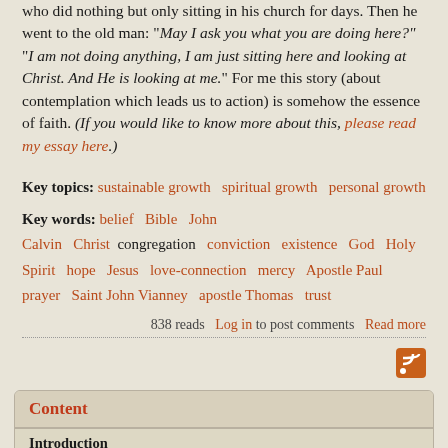who did nothing but only sitting in his church for days. Then he went to the old man: "May I ask you what you are doing here?" "I am not doing anything, I am just sitting here and looking at Christ. And He is looking at me." For me this story (about contemplation which leads us to action) is somehow the essence of faith. (If you would like to know more about this, please read my essay here.)
Key topics: sustainable growth  spiritual growth  personal growth
Key words: belief  Bible  John  Calvin  Christ  congregation  conviction  existence  God  Holy Spirit  hope  Jesus  love-connection  mercy  Apostle Paul  prayer  Saint John Vianney  apostle Thomas  trust
838 reads  Log in to post comments  Read more
[Figure (other): RSS feed icon - orange square with rounded corners containing RSS symbol]
Content
Introduction
The aims of the blog